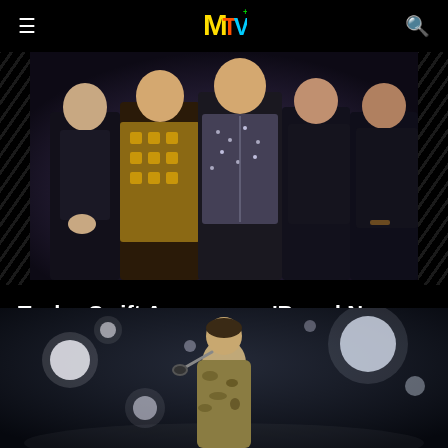MTV
[Figure (photo): Group of people standing on a stage at an awards show, wearing various outfits against a dark background]
Taylor Swift Announces 'Brand New Album' In Video Of The Year Speech
'Midnights' is out October 21
08/29/2022
[Figure (photo): A performer singing into a microphone on a dark stage with bokeh lights in the background, wearing a gold/camo jacket]